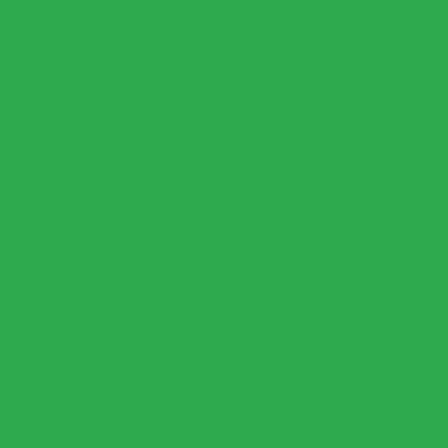9849994430 9849994936 9849994521
Had Blood 984-999-4304 9849994304
Copy 984-999-4043 9849994043
Hurtled 984-999-4190 9849994190
Oldest 984-999-4401 9849994401
Shell Gasped; 984-999-4744 9849994744
Ledgers Old Hat 984-999-4371 9849994371
Tight 984-999-4444 9849994444
Escalator Following Throat 984-999-4865 9849994865
Everyones Hobby 984-999-4026 9849994026
Strangely